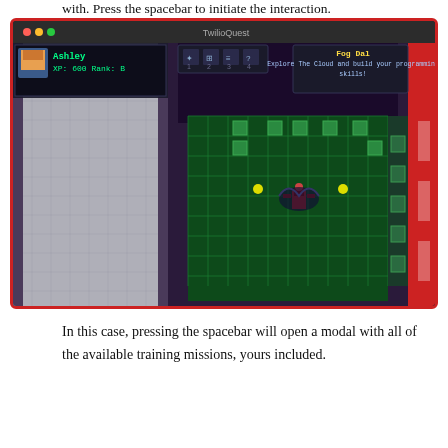with. Press the spacebar to initiate the interaction.
[Figure (screenshot): TwilioQuest game screenshot showing a pixel-art RPG scene. A character named Ashley with XP: 600 and Rank: B is shown on a dark green tiled floor area with surrounding grey-tiled walls. A Fog Dal quest objective is shown in the top right. The player character (in red) is centered on the green grid floor.]
In this case, pressing the spacebar will open a modal with all of the available training missions, yours included.